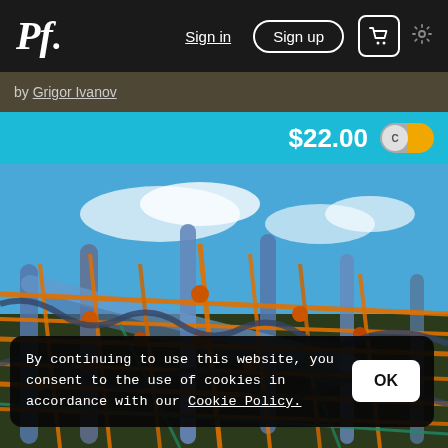Pf. | Sign in | Sign up | [cart] [settings]
by Grigor Ivanov
$22.00
[Figure (photo): Close-up photograph of orange and blue rope lobster traps/crab pots stacked together against a blue sky with clouds]
By continuing to use this website, you consent to the use of cookies in accordance with our Cookie Policy.